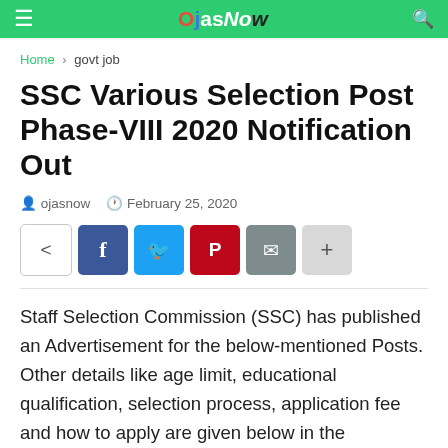OjasNow
Home › govt job
SSC Various Selection Post Phase-VIII 2020 Notification Out
ojasnow   February 25, 2020
[Figure (other): Social share buttons: share, Facebook, Twitter, Pinterest, email, plus]
Staff Selection Commission (SSC) has published an Advertisement for the below-mentioned Posts. Other details like age limit, educational qualification, selection process, application fee and how to apply are given below in the advertisement.